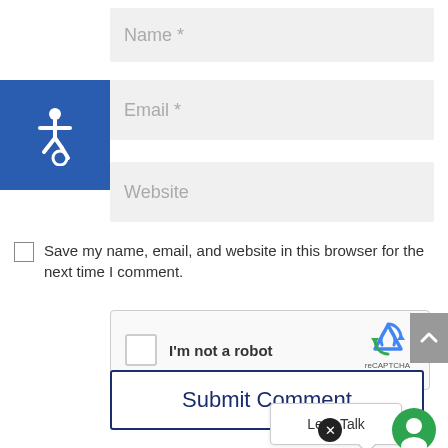[Figure (screenshot): Web form input field placeholder 'Name *']
[Figure (illustration): Accessibility icon (wheelchair symbol) on blue background square]
[Figure (screenshot): Web form input field placeholder 'Email *']
[Figure (screenshot): Web form input field placeholder 'Website']
Save my name, email, and website in this browser for the next time I comment.
[Figure (screenshot): reCAPTCHA widget with checkbox and 'I'm not a robot' label]
[Figure (screenshot): Submit Comment button with dark blue border]
[Figure (illustration): Gray scroll-to-top button with up arrow chevron]
[Figure (illustration): Chat tooltip bubble with 'Let's Talk' text]
[Figure (illustration): Black circular close/X button overlay]
[Figure (illustration): Green circular chat icon]